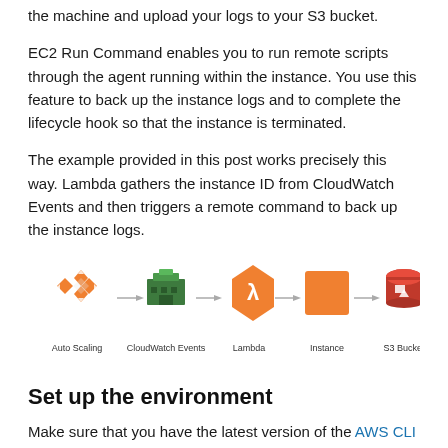the machine and upload your logs to your S3 bucket.
EC2 Run Command enables you to run remote scripts through the agent running within the instance. You use this feature to back up the instance logs and to complete the lifecycle hook so that the instance is terminated.
The example provided in this post works precisely this way. Lambda gathers the instance ID from CloudWatch Events and then triggers a remote command to back up the instance logs.
[Figure (flowchart): Flowchart showing: Auto Scaling -> CloudWatch Events -> Lambda -> Instance -> S3 Bucket]
Set up the environment
Make sure that you have the latest version of the AWS CLI installed locally. For more information, see Getting Set Up with the AWS Command Line Interface.